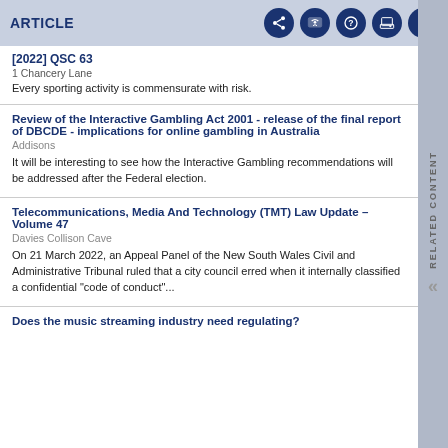ARTICLE
[2022] QSC 63
1 Chancery Lane
Every sporting activity is commensurate with risk.
Review of the Interactive Gambling Act 2001 - release of the final report of DBCDE - implications for online gambling in Australia
Addisons
It will be interesting to see how the Interactive Gambling recommendations will be addressed after the Federal election.
Telecommunications, Media And Technology (TMT) Law Update – Volume 47
Davies Collison Cave
On 21 March 2022, an Appeal Panel of the New South Wales Civil and Administrative Tribunal ruled that a city council erred when it internally classified a confidential "code of conduct"...
Does the music streaming industry need regulating?